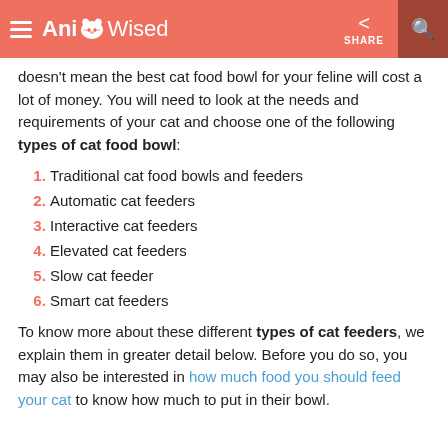AnimalWised — SHARE
doesn't mean the best cat food bowl for your feline will cost a lot of money. You will need to look at the needs and requirements of your cat and choose one of the following types of cat food bowl:
Traditional cat food bowls and feeders
Automatic cat feeders
Interactive cat feeders
Elevated cat feeders
Slow cat feeder
Smart cat feeders
To know more about these different types of cat feeders, we explain them in greater detail below. Before you do so, you may also be interested in how much food you should feed your cat to know how much to put in their bowl.